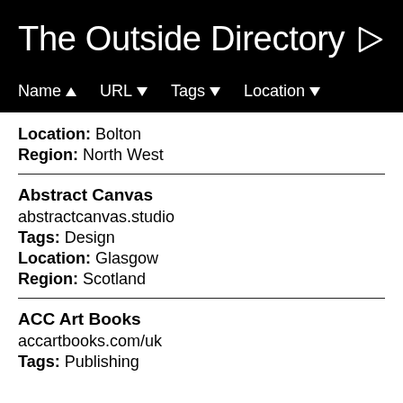The Outside Directory
Name ▲   URL ▽   Tags ▽   Location ▽
Location: Bolton
Region: North West
Abstract Canvas
abstractcanvas.studio
Tags: Design
Location: Glasgow
Region: Scotland
ACC Art Books
accartbooks.com/uk
Tags: Publishing